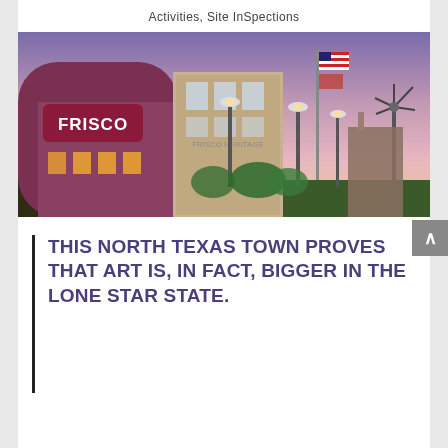Activities, Site InSpections
[Figure (photo): Exterior dusk/twilight photo of Frisco Heritage Museum building with illuminated signage reading FRISCO, street lamps, American flags, and a windmill in the background against a purple-pink sky]
THIS NORTH TEXAS TOWN PROVES THAT ART IS, IN FACT, BIGGER IN THE LONE STAR STATE.